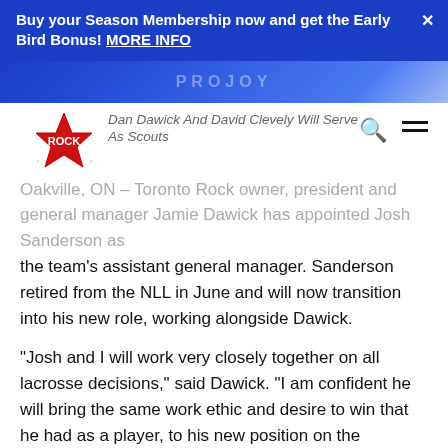Buy your Season Membership now and get the Early Bird Bonus! MORE INFO
Dan Dawick And David Clevely Will Serve As Scouts
Oakville, ON – Toronto Rock owner, president and general manager Jamie Dawick has appointed Josh Sanderson as the team's assistant general manager. Sanderson retired from the NLL in June and will now transition into his new role, working alongside Dawick.
“Josh and I will work very closely together on all lacrosse decisions,” said Dawick. “I am confident he will bring the same work ethic and desire to win that he had as a player, to his new position on the management side of things.”
Sanderson has already moved into a management role becoming the general manager of the Oakville Rock of Ontario’s Major Series Lacrosse. Under his thumb during